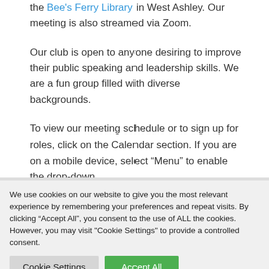the Bee's Ferry Library in West Ashley. Our meeting is also streamed via Zoom.
Our club is open to anyone desiring to improve their public speaking and leadership skills. We are a fun group filled with diverse backgrounds.
To view our meeting schedule or to sign up for roles, click on the Calendar section. If you are on a mobile device, select “Menu” to enable the drop-down.
We use cookies on our website to give you the most relevant experience by remembering your preferences and repeat visits. By clicking “Accept All”, you consent to the use of ALL the cookies. However, you may visit "Cookie Settings" to provide a controlled consent.